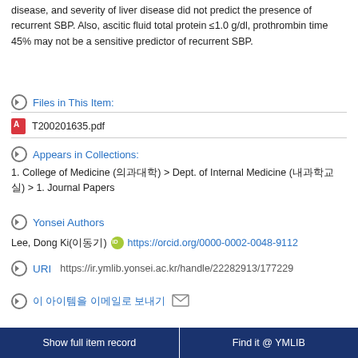disease, and severity of liver disease did not predict the presence of recurrent SBP. Also, ascitic fluid total protein ≤1.0 g/dl, prothrombin time 45% may not be a sensitive predictor of recurrent SBP.
Files in This Item:
T200201635.pdf
Appears in Collections:
1. College of Medicine (의과대학) > Dept. of Internal Medicine (내과학교실) > 1. Journal Papers
Yonsei Authors
Lee, Dong Ki(이동기) https://orcid.org/0000-0002-0048-9112
URI
https://ir.ymlib.yonsei.ac.kr/handle/22282913/177229
이 아이템을 이메일로 보내기
Show full item record   Find it @ YMLIB